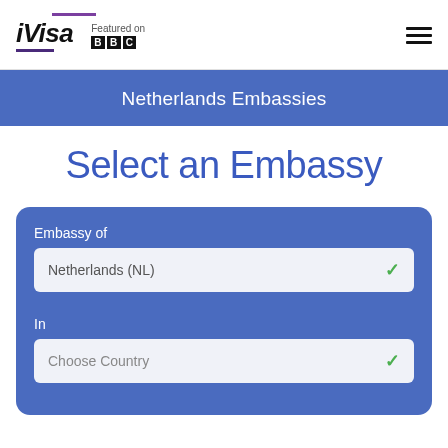[Figure (logo): iVisa logo with purple underline accent bar, and BBC Featured On badge]
Netherlands Embassies
Select an Embassy
Embassy of
Netherlands (NL)
In
Choose Country